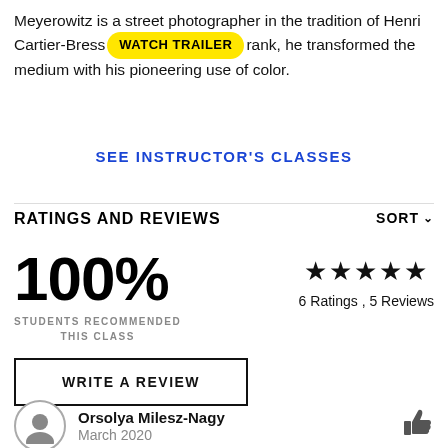Meyerowitz is a street photographer in the tradition of Henri Cartier-Bresson. Of the first rank, he transformed the medium with his pioneering use of color.
SEE INSTRUCTOR'S CLASSES
RATINGS AND REVIEWS
100% STUDENTS RECOMMENDED THIS CLASS
★★★★★ 6 Ratings , 5 Reviews
WRITE A REVIEW
Orsolya Milesz-Nagy
March 2020
Joel is truly magnificent